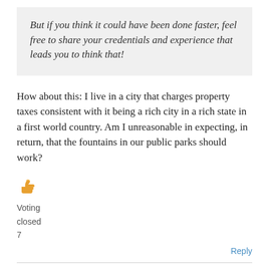But if you think it could have been done faster, feel free to share your credentials and experience that leads you to think that!
How about this: I live in a city that charges property taxes consistent with it being a rich city in a rich state in a first world country. Am I unreasonable in expecting, in return, that the fountains in our public parks should work?
[Figure (illustration): Thumbs up emoji icon in orange/yellow color]
Voting closed 7
Reply
Before Memorial Day, kinda, yeah?